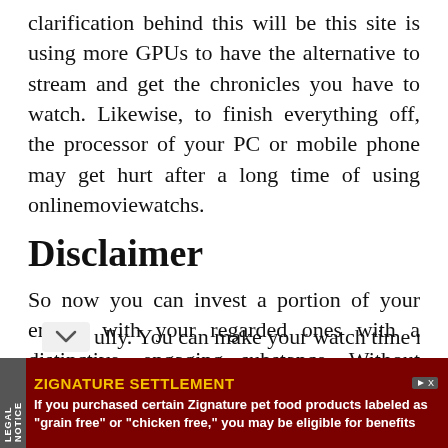clarification behind this will be this site is using more GPUs to have the alternative to stream and get the chronicles you have to watch. Likewise, to finish everything off, the processor of your PC or mobile phone may get hurt after a long time of using onlinemoviewatchs.
Disclaimer
So now you can invest a portion of your energy with your regarded ones with a distinctive, engaging substance. Without worrying about the locality, you can encounter all-new entertainment by utilizing it fully. You can make your watch time necessary,
[Figure (other): Advertisement banner: ZIGNATURE SETTLEMENT - If you purchased certain Zignature pet food products labeled as "grain free" or "chicken free," you may be eligible for benefits]